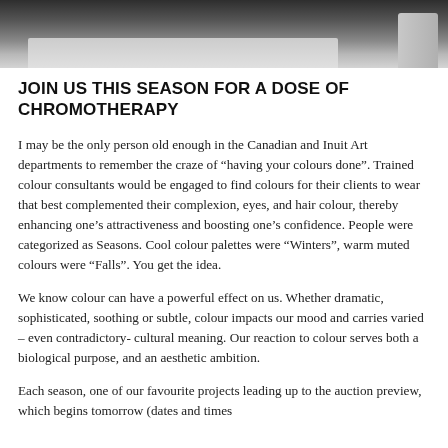[Figure (photo): Partial view of what appears to be a countertop or table surface, photographed from above, with dark and light tones suggesting a modern interior setting.]
JOIN US THIS SEASON FOR A DOSE OF CHROMOTHERAPY
I may be the only person old enough in the Canadian and Inuit Art departments to remember the craze of “having your colours done”. Trained colour consultants would be engaged to find colours for their clients to wear that best complemented their complexion, eyes, and hair colour, thereby enhancing one’s attractiveness and boosting one’s confidence. People were categorized as Seasons. Cool colour palettes were “Winters”, warm muted colours were “Falls”. You get the idea.
We know colour can have a powerful effect on us. Whether dramatic, sophisticated, soothing or subtle, colour impacts our mood and carries varied – even contradictory- cultural meaning. Our reaction to colour serves both a biological purpose, and an aesthetic ambition.
Each season, one of our favourite projects leading up to the auction preview, which begins tomorrow (dates and times